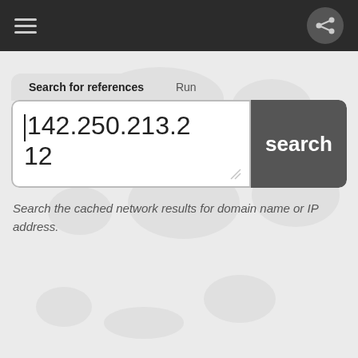[Figure (screenshot): Mobile app top navigation bar with hamburger menu icon on left and share icon button on right, dark gray background]
Search for references
Run
142.250.213.212
search
Search the cached network results for domain name or IP address.